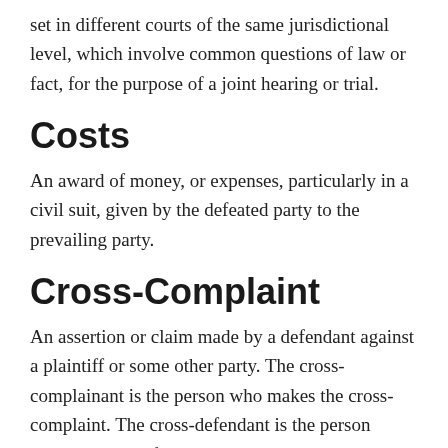set in different courts of the same jurisdictional level, which involve common questions of law or fact, for the purpose of a joint hearing or trial.
Costs
An award of money, or expenses, particularly in a civil suit, given by the defeated party to the prevailing party.
Cross-Complaint
An assertion or claim made by a defendant against a plaintiff or some other party. The cross-complainant is the person who makes the cross-complaint. The cross-defendant is the person named as the defendant in the cross-complaint.
Default